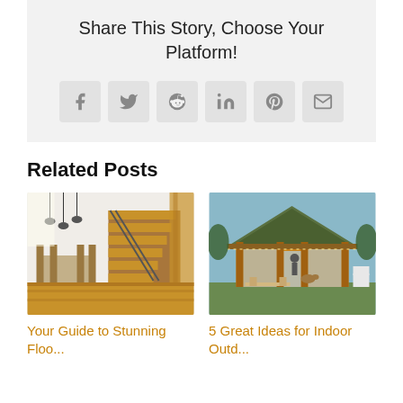Share This Story, Choose Your Platform!
[Figure (infographic): Social share buttons: Facebook, Twitter, Reddit, LinkedIn, Pinterest, Email]
Related Posts
[Figure (photo): Interior home photo with staircase and dining area and wooden flooring]
[Figure (photo): Outdoor cabin/lodge with wooden structure, large glass windows, outdoor seating area]
Your Guide to Stunning Floo...
5 Great Ideas for Indoor Outd...